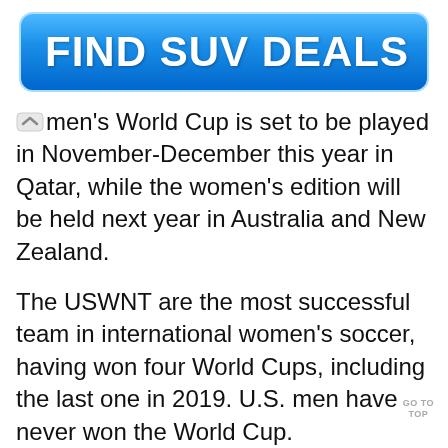[Figure (screenshot): Blue rounded button with bold white text reading FIND SUV DEALS]
...men's World Cup is set to be played in November-December this year in Qatar, while the women's edition will be held next year in Australia and New Zealand.
The USWNT are the most successful team in international women's soccer, having won four World Cups, including the last one in 2019. U.S. men have never won the World Cup.
(Reporting by Manasi Pathak; Rami A...